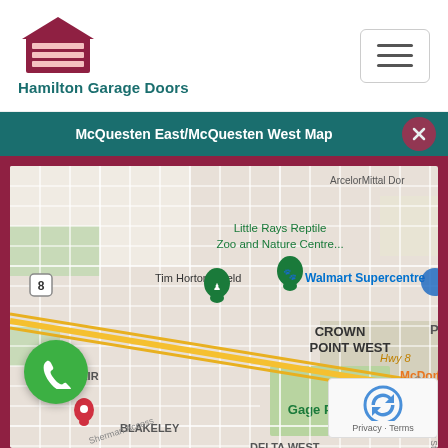Hamilton Garage Doors
McQuesten East/McQuesten West Map
[Figure (map): Google Maps view showing McQuesten East/West area in Hamilton, Ontario. Landmarks include Little Rays Reptile Zoo and Nature Centre, Tim Hortons Field, Walmart Supercentre, McDonald's, Gage Park, Crown Point West, Blakeley, Delta West neighborhoods, with Hwy 8 visible running diagonally.]